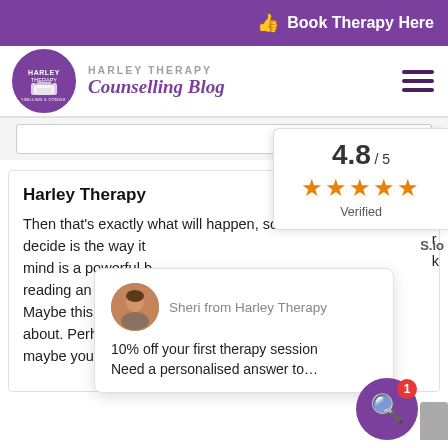Book Therapy Here
[Figure (logo): Harley Therapy Counselling Blog logo with purple circle and armchair icon]
Harley Therapy Counselling Blog
[Figure (infographic): Rating widget showing 4.8/5 stars, Verified]
Then that's exactly what will happen, so wh... decide is the way it... mind is a powerful b... reading an article o... Maybe this isn't you... about. Perhaps on a certain level you wonder if maybe you've also earned to be at peace? Best...
Harley Therapy
[Figure (photo): Chat popup with Sheri from Harley Therapy avatar, offering 10% off first therapy session and personalised answer]
10% off your first therapy session
Need a personalised answer to...